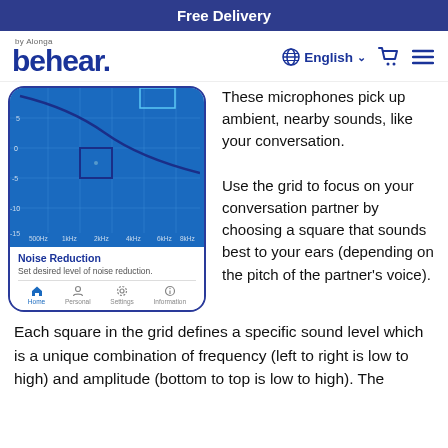Free Delivery
[Figure (screenshot): BeHear by Alonga website header with logo, English language selector, cart icon, and hamburger menu]
[Figure (screenshot): App screen showing a noise reduction grid interface with frequency axis (500Hz, 1kHz, 2kHz, 4kHz, 6kHz, 8kHz) and amplitude axis, a curve, and a selected square. Below: Noise Reduction heading, 'Set desired level of noise reduction.' text, and bottom navigation tabs: Home, Personal, Settings, Information.]
These microphones pick up ambient, nearby sounds, like your conversation. Use the grid to focus on your conversation partner by choosing a square that sounds best to your ears (depending on the pitch of the partner's voice).
Each square in the grid defines a specific sound level which is a unique combination of frequency (left to right is low to high) and amplitude (bottom to top is low to high). The